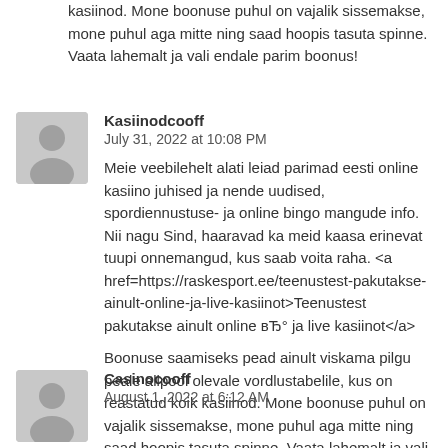kasiinod. Mone boonuse puhul on vajalik sissemakse, mone puhul aga mitte ning saad hoopis tasuta spinne. Vaata lahemalt ja vali endale parim boonus!
Kasiinodcooff
July 31, 2022 at 10:08 PM
Meie veebilehelt alati leiad parimad eesti online kasiino juhised ja nende uudised, spordiennustuse- ja online bingo mangude info. Nii nagu Sind, haaravad ka meid kaasa erinevat tuupi onnemangud, kus saab voita raha. <a href=https://raskesport.ee/teenustest-pakutakse-ainult-online-ja-live-kasiinot>Teenustest pakutakse ainult online вЂ° ja live kasiinot</a>
Boonuse saamiseks pead ainult viskama pilgu peale allpool olevale vordlustabelile, kus on reastatud koik kasiinod. Mone boonuse puhul on vajalik sissemakse, mone puhul aga mitte ning saad hoopis tasuta spinne. Vaata lahemalt ja vali endale parim boonus!
Casinocooff
August 1, 2022 at 6:12 AM